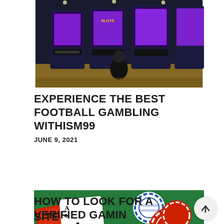[Figure (photo): Casino slot machines in a row with purple lighting, person sitting in background]
EXPERIENCE THE BEST FOOTBALL GAMBLING WITHISM99
JUNE 9, 2021
[Figure (photo): Playing cards (Ace of clubs visible) and casino chips (red and white) on a green felt table]
HOW TO LOOK FOR A VERIFIED GAMING SITE